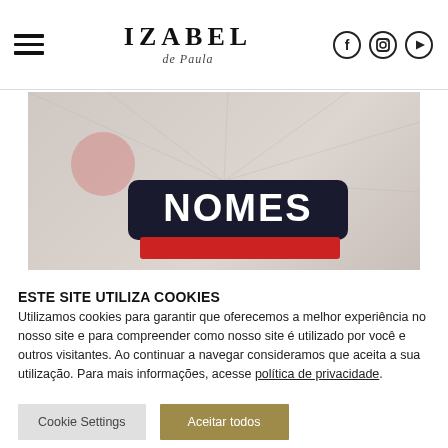IZABEL de Paula — navigation header with hamburger menu and social icons
[Figure (illustration): Hero banner image showing 'NOMES' text on a dark rounded rectangle badge with red accent, over a light abstract background with lines and a pink/red circle]
ESTE SITE UTILIZA COOKIES
Utilizamos cookies para garantir que oferecemos a melhor experiência no nosso site e para compreender como nosso site é utilizado por você e outros visitantes. Ao continuar a navegar consideramos que aceita a sua utilização. Para mais informações, acesse política de privacidade.
Cookie Settings | Aceitar todos